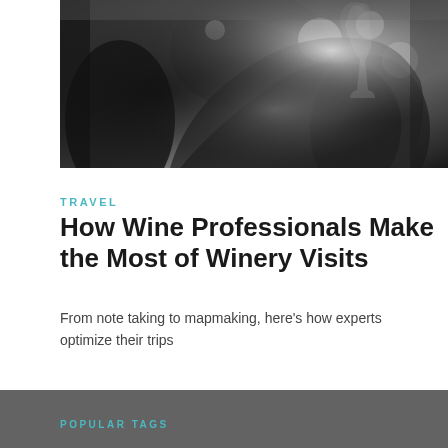[Figure (photo): Black and white photograph of a hand holding a wine glass at what appears to be a wine tasting event, with blurred figures in the background]
TRAVEL
How Wine Professionals Make the Most of Winery Visits
From note taking to mapmaking, here’s how experts optimize their trips
POPULAR TAGS